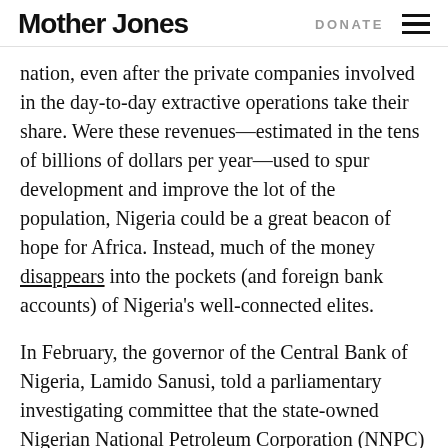Mother Jones | DONATE
nation, even after the private companies involved in the day-to-day extractive operations take their share. Were these revenues—estimated in the tens of billions of dollars per year—used to spur development and improve the lot of the population, Nigeria could be a great beacon of hope for Africa. Instead, much of the money disappears into the pockets (and foreign bank accounts) of Nigeria's well-connected elites.
In February, the governor of the Central Bank of Nigeria, Lamido Sanusi, told a parliamentary investigating committee that the state-owned Nigerian National Petroleum Corporation (NNPC) had failed to transfer some $20 billion in proceeds